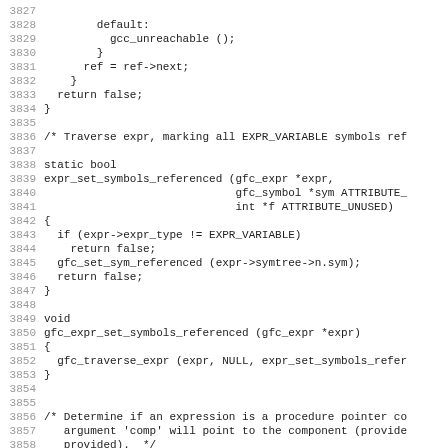Source code listing lines 3827-3858 showing C functions for expr_set_symbols_referenced and gfc_expr_set_symbols_referenced